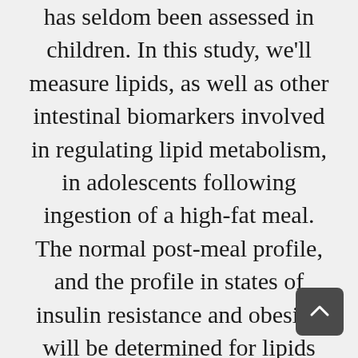has seldom been assessed in children. In this study, we'll measure lipids, as well as other intestinal biomarkers involved in regulating lipid metabolism, in adolescents following ingestion of a high-fat meal. The normal post-meal profile, and the profile in states of insulin resistance and obesity, will be determined for lipids and their metabolic biomarkers. Examining changes of lipid metabolism in insulin resistance and obesity will provide a better understanding of the link between type 2 diabetes and heart